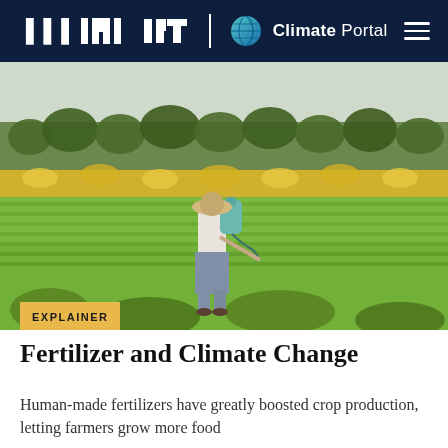MIT Climate Portal
[Figure (photo): A farmer wearing a wide-brimmed hat walks through a lush green crop field while carrying a large sprayer tank on their back. In the background there are rows of yellow flowering crops and trees under a hazy sky.]
EXPLAINER
Fertilizer and Climate Change
Human-made fertilizers have greatly boosted crop production, letting farmers grow more food